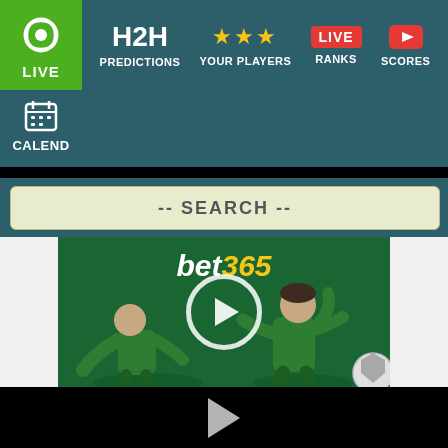[Figure (screenshot): Mobile app navigation bar with LIVE button (green), H2H PREDICTIONS, YOUR PLAYERS (stars), LIVE RANKS, SCORES (YouTube icon), CALEND (calendar icon) tabs on dark teal background]
-- SEARCH --
[Figure (photo): bet365 advertisement banner showing two soccer players in green jerseys with a play button circle overlay, advertisement set against green background]
[Figure (screenshot): Black video player area with a white play triangle button in the center]